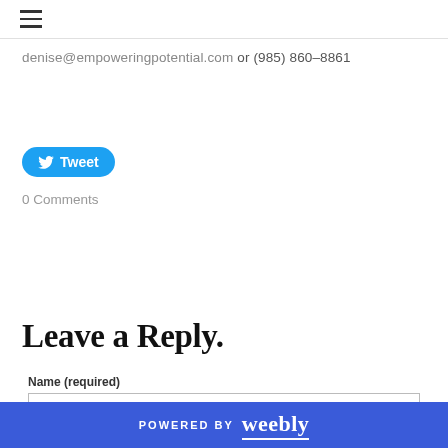≡ (hamburger menu)
denise@empoweringpotential.com or (985) 860-8861
[Figure (other): Twitter Tweet button (blue rounded pill with bird icon and 'Tweet' text)]
0 Comments
Leave a Reply.
Name (required)
POWERED BY weebly